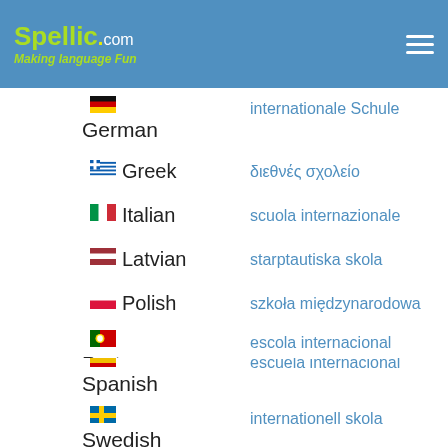Spellic.com - Making language Fun
German - internationale Schule
Greek - διεθνές σχολείο
Italian - scuola internazionale
Latvian - starptautiska skola
Polish - szkoła międzynarodowa
Portuguese - escola internacional
Slovenian - mednarodna šola
Spanish - escuela internacional
Swedish - internationell skola